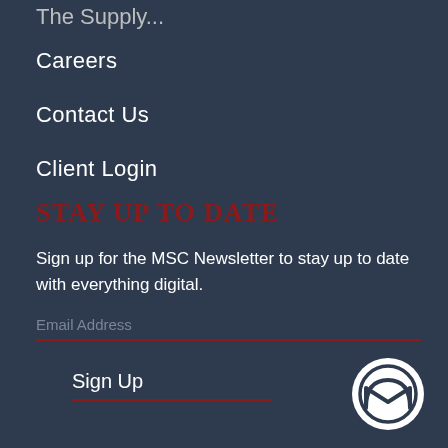The Supply...
Careers
Contact Us
Client Login
STAY UP TO DATE
Sign up for the MSC Newsletter to stay up to date with everything digital.
Email Address
Sign Up
[Figure (logo): MSC logo — circular badge with stylized M lettermark in white on dark background]